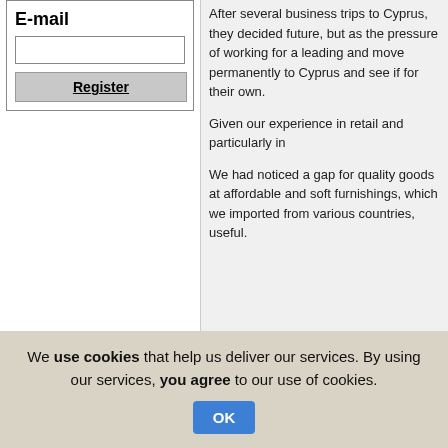E-mail
[Figure (screenshot): Email input field and Register button form]
After several business trips to Cyprus, they decided future, but as the pressure of working for a leading and move permanently to Cyprus and see if for their own.
Given our experience in retail and particularly in
We had noticed a gap for quality goods at affordable and soft furnishings, which we imported from various countries, useful.
We use cookies that help us deliver our services. By using our services, you agree to our use of cookies.